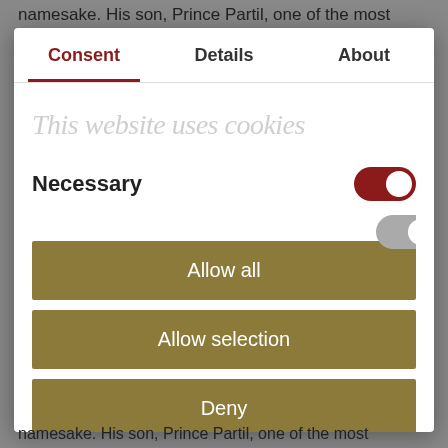namesake. His son, Prince Partil, one of the most
[Figure (screenshot): Cookie consent dialog with tabs: Consent (active, red underline), Details, About. Contains watermark text 'This website uses cookies', a Necessary toggle (enabled, dark red), a partially visible gray toggle, and three buttons: Allow all, Allow selection, Deny in olive/khaki color.]
namesake. His son, Prince Partil, one of the most